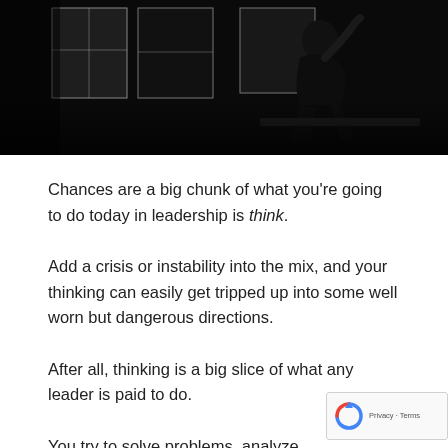[Figure (photo): Black and white silhouette photo of a person sitting near windows, high contrast dramatic lighting]
Chances are a big chunk of what you're going to do today in leadership is think.
Add a crisis or instability into the mix, and your thinking can easily get tripped up into some well worn but dangerous directions.
After all, thinking is a big slice of what any leader is paid to do.
You try to solve problems, analyze opportunities, liste...